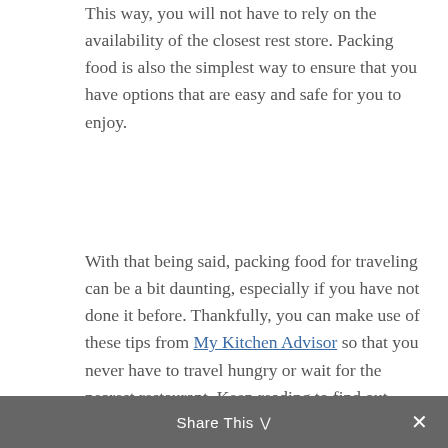This way, you will not have to rely on the availability of the closest rest store. Packing food is also the simplest way to ensure that you have options that are easy and safe for you to enjoy.
With that being said, packing food for traveling can be a bit daunting, especially if you have not done it before. Thankfully, you can make use of these tips from My Kitchen Advisor so that you never have to travel hungry or wait for the nearest restaurant. Keep reading to find out how to plan a vacation on a tight
Share This